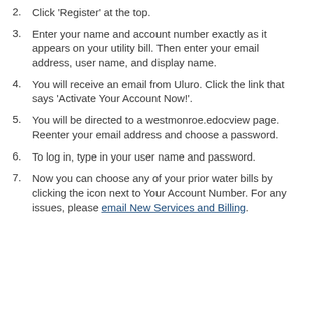2. Click 'Register' at the top.
3. Enter your name and account number exactly as it appears on your utility bill. Then enter your email address, user name, and display name.
4. You will receive an email from Uluro. Click the link that says 'Activate Your Account Now!'.
5. You will be directed to a westmonroe.edocview page. Reenter your email address and choose a password.
6. To log in, type in your user name and password.
7. Now you can choose any of your prior water bills by clicking the icon next to Your Account Number. For any issues, please email New Services and Billing.